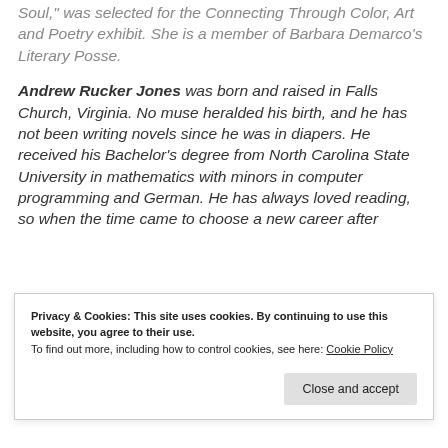Soul," was selected for the Connecting Through Color, Art and Poetry exhibit. She is a member of Barbara Demarco's Literary Posse.
Andrew Rucker Jones was born and raised in Falls Church, Virginia. No muse heralded his birth, and he has not been writing novels since he was in diapers. He received his Bachelor's degree from North Carolina State University in mathematics with minors in computer programming and German. He has always loved reading, so when the time came to choose a new career after
Privacy & Cookies: This site uses cookies. By continuing to use this website, you agree to their use.
To find out more, including how to control cookies, see here: Cookie Policy
Close and accept